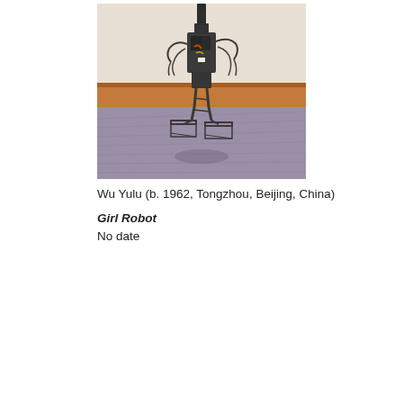[Figure (photo): A small metallic robot sculpture made from sewing machine parts and wire, standing on a purple textile surface. The robot has a mechanical body with wires and components, and wire-frame feet/legs. A wooden baseboard is visible in the background against a light wall.]
Wu Yulu (b. 1962, Tongzhou, Beijing, China)
Girl Robot
No date